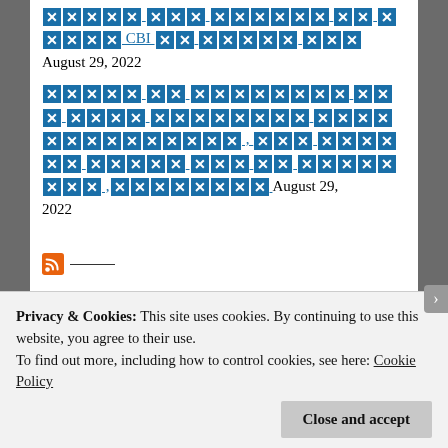[redacted] [redacted] [redacted] CBI [redacted] [redacted] [redacted] August 29, 2022
[redacted] [redacted] [redacted] [redacted] [redacted] [redacted] [redacted], [redacted] [redacted] [redacted] [redacted] [redacted] [redacted] , [redacted] [redacted] August 29, 2022
[Figure (other): RSS feed icon (orange) followed by an underline]
[redacted] [redacted] [redacted] [redacted] [redacted] [redacted] [redacted] [redacted] [redacted] [redacted] [redacted] [redacted] [redacted] [redacted] 75[redacted] [redacted] [redacted] [redacted] [redacted] [redacted] [redacted] [redacted]
Privacy & Cookies: This site uses cookies. By continuing to use this website, you agree to their use. To find out more, including how to control cookies, see here: Cookie Policy
Close and accept